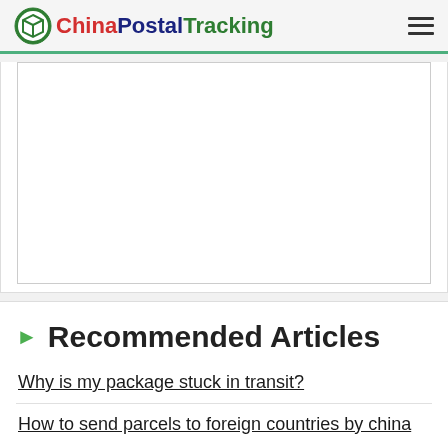ChinaPostalTracking
[Figure (other): Advertisement placeholder block (white box with border)]
Recommended Articles
Why is my package stuck in transit?
How to send parcels to foreign countries by china